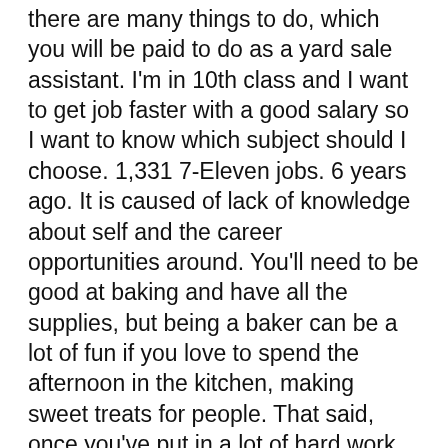there are many things to do, which you will be paid to do as a yard sale assistant. I'm in 10th class and I want to get job faster with a good salary so I want to know which subject should I choose. 1,331 7-Eleven jobs. 6 years ago. It is caused of lack of knowledge about self and the career opportunities around. You'll need to be good at baking and have all the supplies, but being a baker can be a lot of fun if you love to spend the afternoon in the kitchen, making sweet treats for people. That said, once you've put in a lot of hard work and things are going well, you'll notice that these types of jobs have the highest earning power. WhatsApp Group Rules. i am very confused by thinking what should i take in 11.i love science ,and maths very much... After completion of 10th you have to decide in which stream you will study further. Once you get seeds, all you have to do is sell them to friends, family members, and neighbors who want to plant a garden. Upload your resume and subscribe to Agriculture Jobs Vacancies in Agriculture 2020 to know immediately about the latest Agriculture Recruitment 2020 notification for both fresher's and experienced candidates. Job opportunities